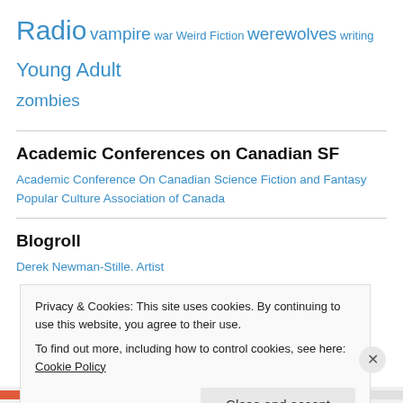Radio vampire war Weird Fiction werewolves writing Young Adult zombies
Academic Conferences on Canadian SF
Academic Conference On Canadian Science Fiction and Fantasy
Popular Culture Association of Canada
Blogroll
Derek Newman-Stille. Artist
Privacy & Cookies: This site uses cookies. By continuing to use this website, you agree to their use.
To find out more, including how to control cookies, see here: Cookie Policy
Close and accept